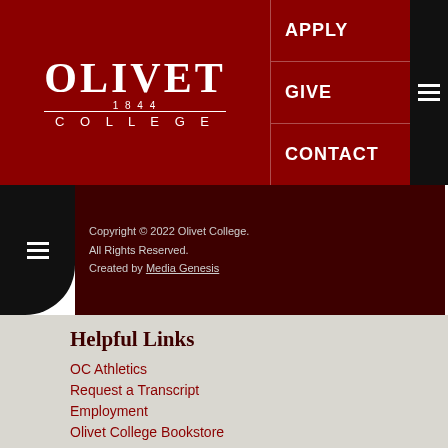[Figure (logo): Olivet College logo with text OLIVET 1844 COLLEGE in white on dark red background]
APPLY
GIVE
CONTACT
Copyright © 2022 Olivet College. All Rights Reserved. Created by Media Genesis
Helpful Links
OC Athletics
Request a Transcript
Employment
Olivet College Bookstore